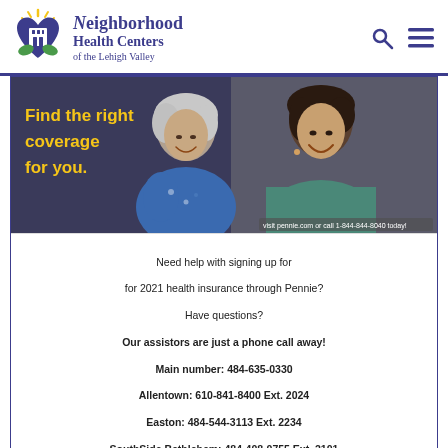[Figure (logo): Neighborhood Health Centers of the Lehigh Valley logo — heart shape with building, sun rays, hands holding globe, green/blue/yellow colors]
Neighborhood Health Centers of the Lehigh Valley
[Figure (photo): Two women smiling together — older woman with silver hair in blue floral blouse, younger woman in teal top. Banner reads 'Find the right coverage for you.' with small text 'visit pennie.com or call 1-844-844-8040 today!']
Need help with signing up for for 2021 health insurance through Pennie? Have questions? Our assistors are just a phone call away! Main number: 484-635-0330 Allentown: 610-841-8400 Ext. 2024 Easton: 484-544-3113 Ext. 2234 SouthSide Bethlehem: 484-408-0755 Ext. 2101 Northside Bethlehem: 484-635-0330
SPECIAL ENR
ENGLISH